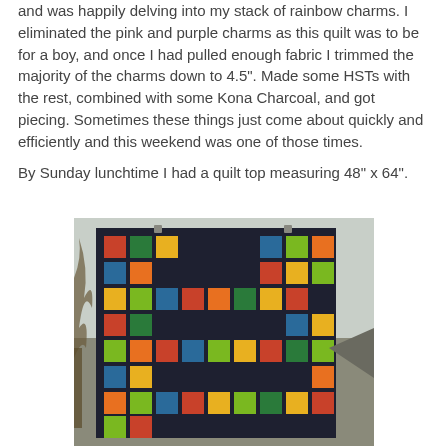and was happily delving into my stack of rainbow charms. I eliminated the pink and purple charms as this quilt was to be for a boy, and once I had pulled enough fabric I trimmed the majority of the charms down to 4.5". Made some HSTs with the rest, combined with some Kona Charcoal, and got piecing. Sometimes these things just come about quickly and efficiently and this weekend was one of those times.
By Sunday lunchtime I had a quilt top measuring 48" x 64".
[Figure (photo): A colorful patchwork quilt with dark charcoal background and rainbow-colored square patches arranged in a snake/maze-like pattern, hanging outdoors against a house wall.]